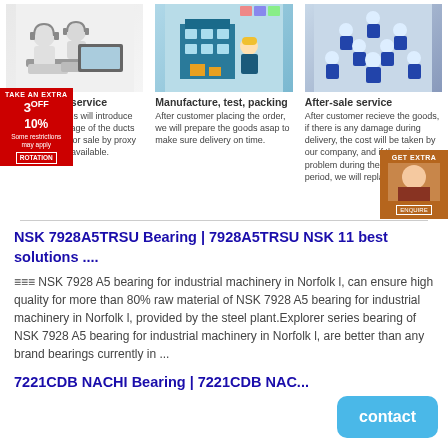[Figure (illustration): Three columns: left shows cartoon workers at computers (pre-sale service), middle shows factory/warehouse illustration (manufacture, test, packing), right shows group of workers in blue uniforms (after-sale service). Red discount badge overlay on left column. Orange popup on far right.]
Manufacture, test, packing
After customer placing the order, we will prepare the goods asap to make sure delivery on time.
After-sale service
After customer recieve the goods, if there is any damage during delivery, the cost will be taken by our company, and if there is problem during the warranty period, we will replace or refund it.
NSK 7928A5TRSU Bearing | 7928A5TRSU NSK 11 best solutions ....
≡≡≡ NSK 7928 A5 bearing for industrial machinery in Norfolk l, can ensure high quality for more than 80% raw material of NSK 7928 A5 bearing for industrial machinery in Norfolk l, provided by the steel plant.Explorer series bearing of NSK 7928 A5 bearing for industrial machinery in Norfolk l, are better than any brand bearings currently in ...
7221CDB NACHI Bearing | 7221CDB NAC...